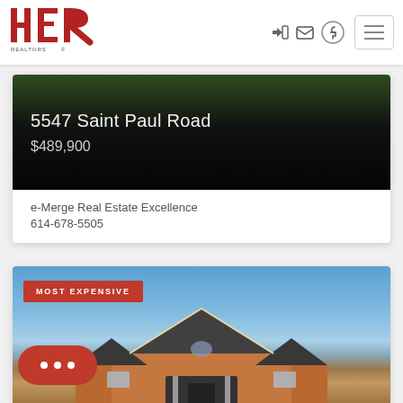[Figure (logo): HER Realtors logo in red with stylized letters H, E, R and 'REALTORS' text below]
5547 Saint Paul Road
$489,900
e-Merge Real Estate Excellence
614-678-5505
[Figure (photo): Brick house exterior with blue sky background labeled MOST EXPENSIVE]
MOST EXPENSIVE